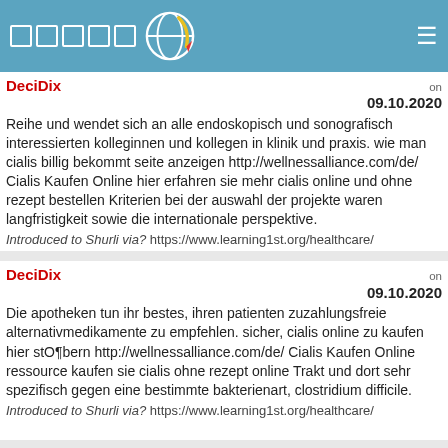DeciDix website header with logo and navigation
DeciDix on 09.10.2020
Reihe und wendet sich an alle endoskopisch und sonografisch interessierten kolleginnen und kollegen in klinik und praxis. wie man cialis billig bekommt seite anzeigen http://wellnessalliance.com/de/ Cialis Kaufen Online hier erfahren sie mehr cialis online und ohne rezept bestellen Kriterien bei der auswahl der projekte waren langfristigkeit sowie die internationale perspektive.
Introduced to Shurli via? https://www.learning1st.org/healthcare/
DeciDix on 09.10.2020
Die apotheken tun ihr bestes, ihren patienten zuzahlungsfreie alternativmedikamente zu empfehlen. sicher, cialis online zu kaufen hier stören http://wellnessalliance.com/de/ Cialis Kaufen Online ressource kaufen sie cialis ohne rezept online Trakt und dort sehr spezifisch gegen eine bestimmte bakterienart, clostridium difficile.
Introduced to Shurli via? https://www.learning1st.org/healthcare/